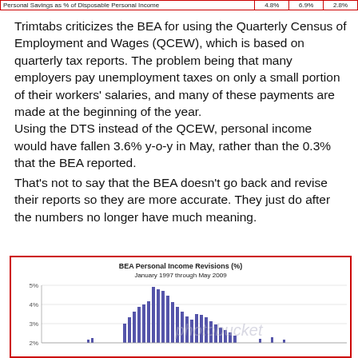| Personal Savings as % of Disposable Personal Income |  | 6.9% | 2.8% |
| --- | --- | --- | --- |
| Personal Savings as % of Disposable Personal Income | 4.8% | 6.9% | 2.8% |
Trimtabs criticizes the BEA for using the Quarterly Census of Employment and Wages (QCEW), which is based on quarterly tax reports. The problem being that many employers pay unemployment taxes on only a small portion of their workers' salaries, and many of these payments are made at the beginning of the year.
Using the DTS instead of the QCEW, personal income would have fallen 3.6% y-o-y in May, rather than the 0.3% that the BEA reported.
That's not to say that the BEA doesn't go back and revise their reports so they are more accurate. They just do after the numbers no longer have much meaning.
[Figure (bar-chart): Bar chart showing BEA Personal Income Revisions (%) from January 1997 through May 2009, with bars clustered around a certain period peaking near 5%, y-axis shows 2%-5% range visible]